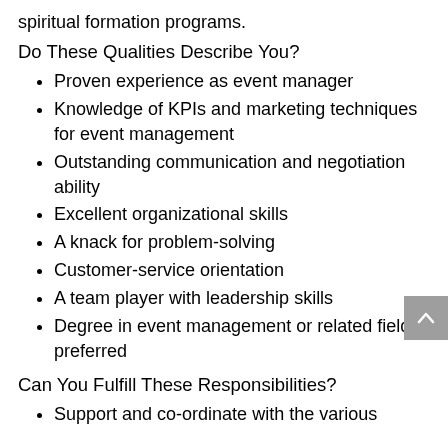spiritual formation programs.
Do These Qualities Describe You?
Proven experience as event manager
Knowledge of KPIs and marketing techniques for event management
Outstanding communication and negotiation ability
Excellent organizational skills
A knack for problem-solving
Customer-service orientation
A team player with leadership skills
Degree in event management or related field is preferred
Can You Fulfill These Responsibilities?
Support and co-ordinate with the various